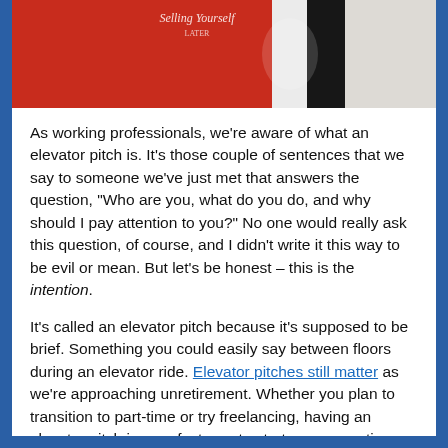[Figure (photo): Photo of a red book or binder with white and black design elements, partial view from top]
As working professionals, we're aware of what an elevator pitch is. It's those couple of sentences that we say to someone we've just met that answers the question, "Who are you, what do you do, and why should I pay attention to you?" No one would really ask this question, of course, and I didn't write it this way to be evil or mean. But let's be honest – this is the intention.
It's called an elevator pitch because it's supposed to be brief. Something you could easily say between floors during an elevator ride. Elevator pitches still matter as we're approaching unretirement. Whether you plan to transition to part-time or try freelancing, having an elevator pitch is a perfect way to start a conversation or capture someone's attention.